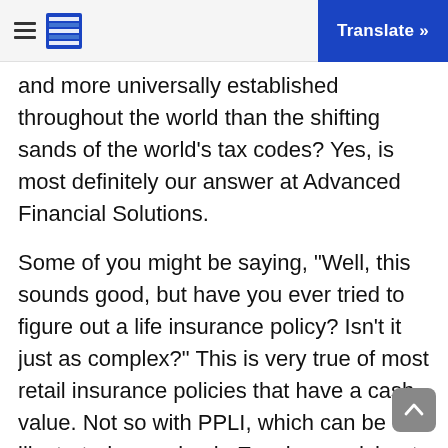Translate »
and more universally established throughout the world than the shifting sands of the world’s tax codes? Yes, is most definitely our answer at Advanced Financial Solutions.
Some of you might be saying, “Well, this sounds good, but have you ever tried to figure out a life insurance policy? Isn’t it just as complex?” This is very true of most retail insurance policies that have a cash value. Not so with PPLI, which can be illustrated on a simple Excel spreadsheet. Fees are